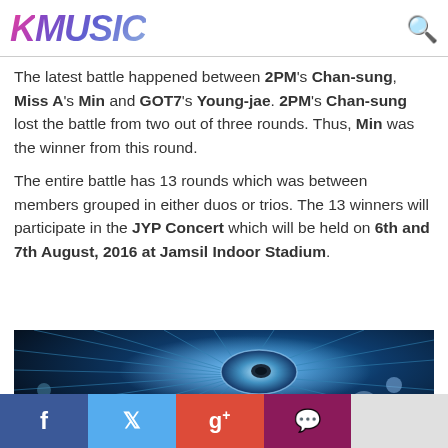KMUSIC
The latest battle happened between 2PM's Chan-sung, Miss A's Min and GOT7's Young-jae. 2PM's Chan-sung lost the battle from two out of three rounds. Thus, Min was the winner from this round.

The entire battle has 13 rounds which was between members grouped in either duos or trios. The 13 winners will participate in the JYP Concert which will be held on 6th and 7th August, 2016 at Jamsil Indoor Stadium.
[Figure (photo): Concert venue photo showing blue stage lighting and bokeh effect]
Social share bar: Facebook, Twitter, Google+, Chat